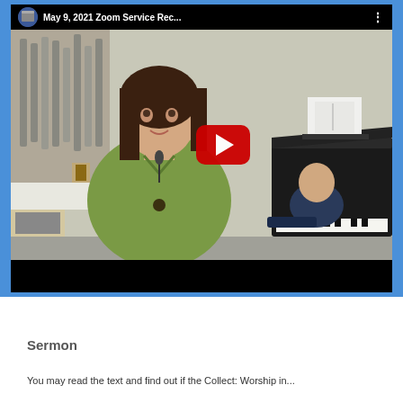[Figure (screenshot): YouTube video thumbnail showing a woman in a green jacket speaking, with a pianist at a grand piano in the background. Video title reads 'May 9, 2021 Zoom Service Rec...' with a red YouTube play button overlay in the center.]
Sermon
You may read the text and find out if the Collect: Worship in...